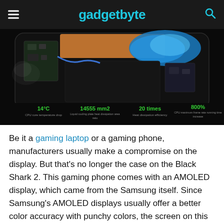gadgetbyte
[Figure (photo): Exploded view of a gaming phone (Black Shark 2) showing internal cooling system with liquid cooling plate on black background. Four green stat labels visible at bottom: 14°C CPU core temperature drop, 14555 mm2 liquid cooling plate heat dissipation area ratio, 20 times heat dissipation efficiency, 800% CPU maximum frame rate running time increase.]
Be it a gaming laptop or a gaming phone, manufacturers usually make a compromise on the display. But that's no longer the case on the Black Shark 2. This gaming phone comes with an AMOLED display, which came from the Samsung itself. Since Samsung's AMOLED displays usually offer a better color accuracy with punchy colors, the screen on this handset could be really satisfying. Furthermore, Xiaomi has optimized the display decreasing the latency to 43.5ms.